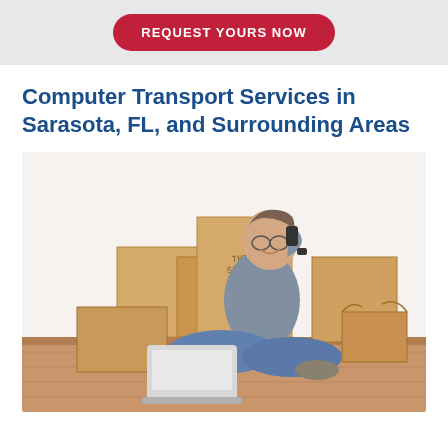REQUEST YOURS NOW
Computer Transport Services in Sarasota, FL, and Surrounding Areas
[Figure (photo): A man sitting cross-legged on a wooden floor, smiling and talking on his phone, with a laptop in front of him and several cardboard moving boxes stacked behind him against a white wall.]